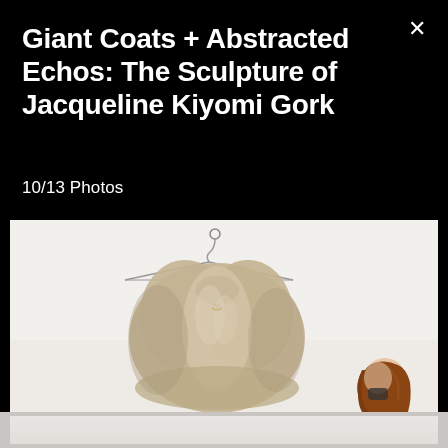Giant Coats + Abstracted Echos: The Sculpture of Jacqueline Kiyomi Gork
10/13 Photos
[Figure (photo): A large oversized fur coat hanging on a metal hanger suspended from above, against a white/light grey background. A person with long red-brown hair (partially visible) stands to the right lower corner.]